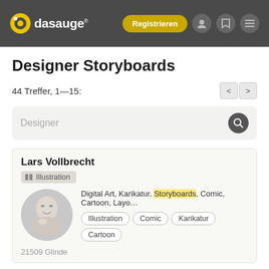dasauge® — Registrieren
Designer Storyboards
44 Treffer, 1–15:
Designer [search box]
Lars Vollbrecht
Illustration
Digital Art, Karikatur, Storyboards, Comic, Cartoon, Layo...
Illustration  Comic  Karikatur  Cartoon
21509 Glinde